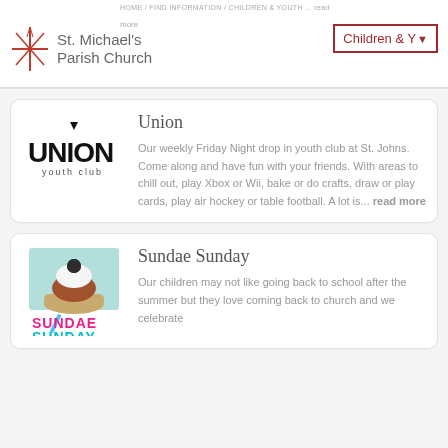HOME / FIND INFORMATION / CHILDREN & YOUTH ... read more
St. Michael's Parish Church
Children & Y▾
Union
Our weekly Friday Night drop in youth club at St. Johns. Come along and have fun with your friends. With areas to chill out, play Xbox or Wii, bake or do crafts, draw or play cards, play air hockey or table football. A lot is... read more
Sundae Sunday
Our children may not like going back to school after the summer but they love coming back to church and we celebrate...